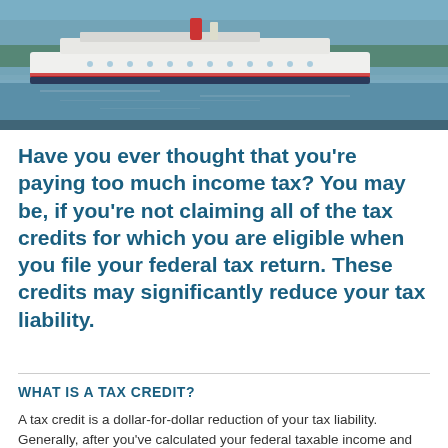[Figure (photo): A large white passenger cruise ship docked at a waterfront with buildings and trees visible in the background, reflecting in the calm water below.]
Have you ever thought that you're paying too much income tax? You may be, if you're not claiming all of the tax credits for which you are eligible when you file your federal tax return. These credits may significantly reduce your tax liability.
WHAT IS A TAX CREDIT?
A tax credit is a dollar-for-dollar reduction of your tax liability. Generally, after you've calculated your federal taxable income and worked out how much tax you owe, you can subtract the amount of any tax credit for which